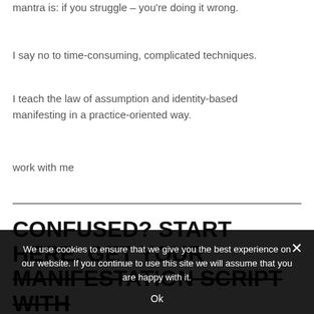mantra is: if you struggle – you're doing it wrong.
I say no to time-consuming, complicated techniques.
I teach the law of assumption and identity-based manifesting in a practice-oriented way.
work with me
CONFUSED? START HERE. GET YOUR MANIFESTATION SCRIPT WITH
We use cookies to ensure that we give you the best experience on our website. If you continue to use this site we will assume that you are happy with it. Ok